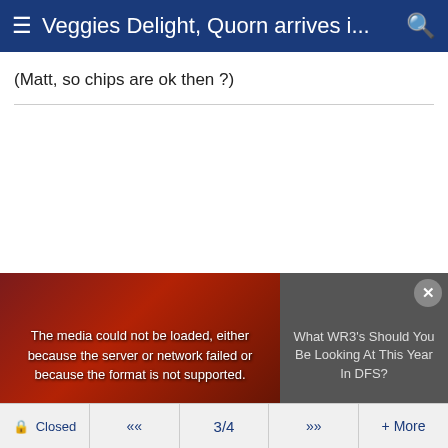≡ Veggies Delight, Quorn arrives i... 🔍
(Matt, so chips are ok then ?)
[Figure (screenshot): Video media player area showing a football player image on the left and a right panel with text 'What WR3's Should You Be Looking At This Year In DFS?'. An error message overlay reads: 'The media could not be loaded, either because the server or network failed or because the format is not supported.' A close button (×) appears in the top right corner.]
🔒 Closed  «  3/4  »  + More